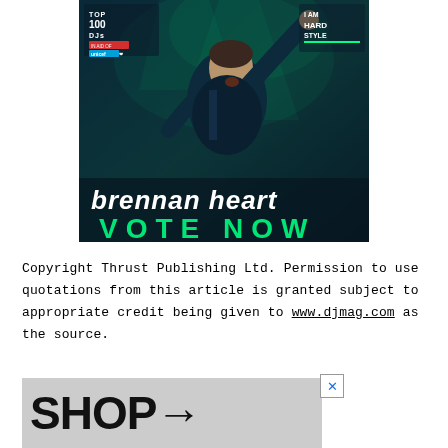[Figure (photo): Advertisement banner for Brennan Heart DJ campaign. Dark teal/blue background showing a male DJ performing with arms raised. Top left shows 'TOP 100 DJs IN AID OF unicef' logo. Top right shows 'I AM HARD STYLE' logo. Bottom text reads 'brennan heart' in large white stylized font and 'VOTE NOW' in large teal/green capital letters.]
Copyright Thrust Publishing Ltd. Permission to use quotations from this article is granted subject to appropriate credit being given to www.djmag.com as the source.
[Figure (screenshot): Bottom advertisement banner showing 'SHOP→' text in large bold black letters on a grey background, with a close (X) button in the top right corner.]